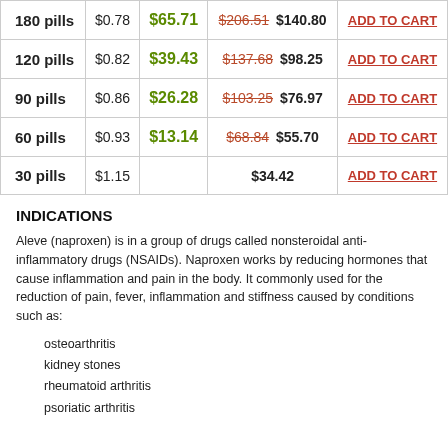|  | Per pill | Bonus | Price |  |
| --- | --- | --- | --- | --- |
| 180 pills | $0.78 | $65.71 | $206.51 $140.80 | ADD TO CART |
| 120 pills | $0.82 | $39.43 | $137.68 $98.25 | ADD TO CART |
| 90 pills | $0.86 | $26.28 | $103.25 $76.97 | ADD TO CART |
| 60 pills | $0.93 | $13.14 | $68.84 $55.70 | ADD TO CART |
| 30 pills | $1.15 |  | $34.42 | ADD TO CART |
INDICATIONS
Aleve (naproxen) is in a group of drugs called nonsteroidal anti-inflammatory drugs (NSAIDs). Naproxen works by reducing hormones that cause inflammation and pain in the body. It commonly used for the reduction of pain, fever, inflammation and stiffness caused by conditions such as:
osteoarthritis
kidney stones
rheumatoid arthritis
psoriatic arthritis